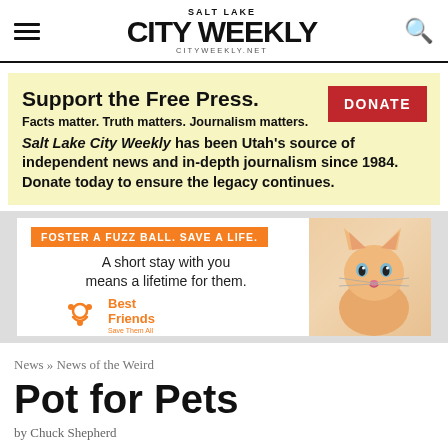SALT LAKE CITY WEEKLY | CITYWEEKLY.NET
Support the Free Press. Facts matter. Truth matters. Journalism matters. Salt Lake City Weekly has been Utah's source of independent news and in-depth journalism since 1984. Donate today to ensure the legacy continues. DONATE
[Figure (infographic): Best Friends Animal Society ad: FOSTER A FUZZ BALL. SAVE A LIFE. A short stay with you means a lifetime for them. Best Friends Save Them All logo with orange cat illustration.]
News » News of the Weird
Pot for Pets
by Chuck Shepherd